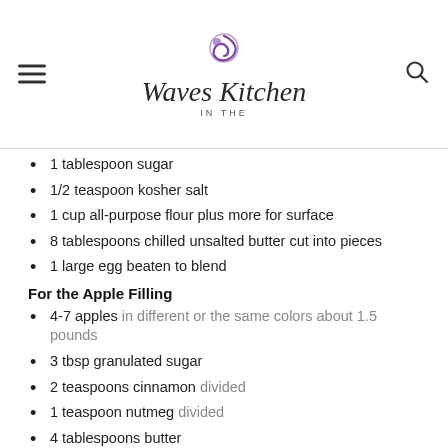Waves in the Kitchen
1 tablespoon sugar
1/2 teaspoon kosher salt
1 cup all-purpose flour plus more for surface
8 tablespoons chilled unsalted butter cut into pieces
1 large egg beaten to blend
For the Apple Filling
4-7 apples in different or the same colors about 1.5 pounds
3 tbsp granulated sugar
2 teaspoons cinnamon divided
1 teaspoon nutmeg divided
4 tablespoons butter
1.5 teaspoons vanilla extract
1 tablespoon brown sugar